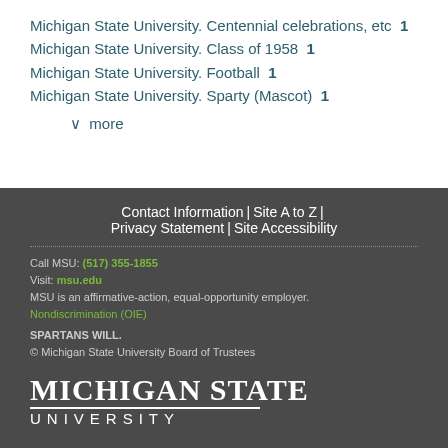Michigan State University. Centennial celebrations, etc  1
Michigan State University. Class of 1958  1
Michigan State University. Football  1
Michigan State University. Sparty (Mascot)  1
v more
Contact Information | Site A to Z | Privacy Statement | Site Accessibility
Call MSU: (517) 355-1855
Visit: msu.edu
MSU is an affirmative-action, equal-opportunity employer.
Nondiscrimination (OIE)
SPARTANS WILL.
© Michigan State University Board of Trustees
MICHIGAN STATE UNIVERSITY